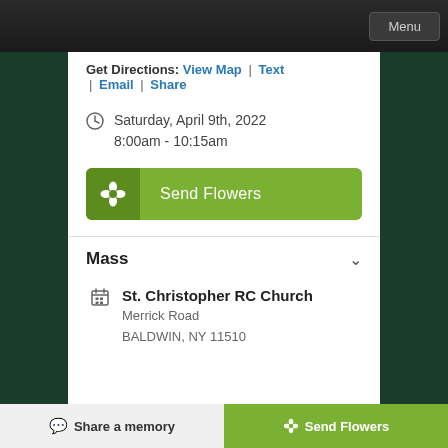Menu
Get Directions: View Map | Text | Email | Share
Saturday, April 9th, 2022 8:00am - 10:15am
Send Flowers
Mass
St. Christopher RC Church
Merrick Road
BALDWIN, NY 11510
Share a memory  |  Send Flowers